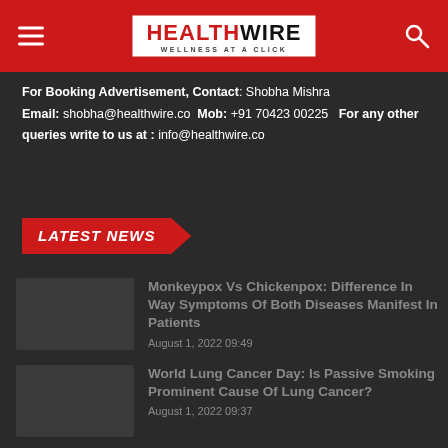HEALTHWIRE — WELLNESS AT A CLICK
For Booking Advertisement, Contact: Shobha Mishra Email: shobha@healthwire.co Mob: +91 70423 00225 For any other queries write to us at : info@healthwire.co
LATEST NEWS
Monkeypox Vs Chickenpox: Difference In Way Symptoms Of Both Diseases Manifest In Patients
August 1, 2022 09:49
World Lung Cancer Day: Is Passive Smoking Prominent Cause Of Lung Cancer?
August 1, 2022 09:37